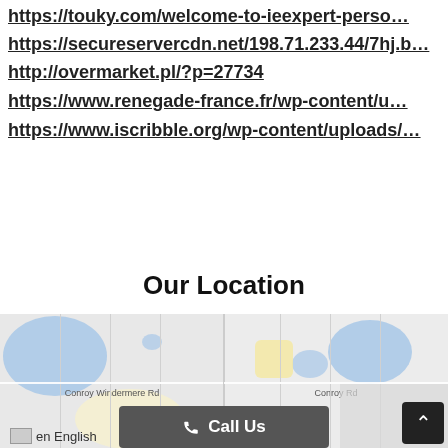https://touky.com/welcome-to-ieexpert-person
https://secureservercdn.net/198.71.233.44/7hj.be
http://overmarket.pl/?p=27734
https://www.renegade-france.fr/wp-content/up
https://www.iscribble.org/wp-content/uploads/
Our Location
[Figure (map): Google Maps view showing Conroy Windermere Rd and Conroy Rd intersection area with blue water bodies and yellow/light parcels]
en English
Call Us